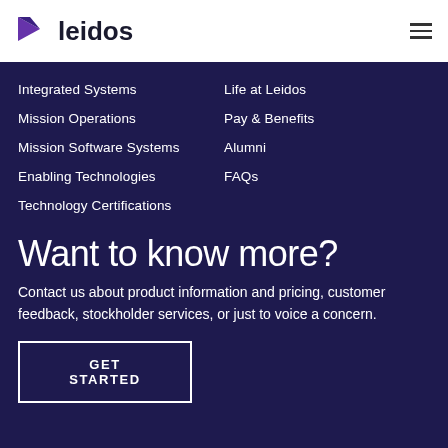[Figure (logo): Leidos logo with purple triangular arrow and 'leidos' wordmark]
Integrated Systems
Mission Operations
Mission Software Systems
Enabling Technologies
Technology Certifications
Life at Leidos
Pay & Benefits
Alumni
FAQs
Want to know more?
Contact us about product information and pricing, customer feedback, stockholder services, or just to voice a concern.
GET STARTED